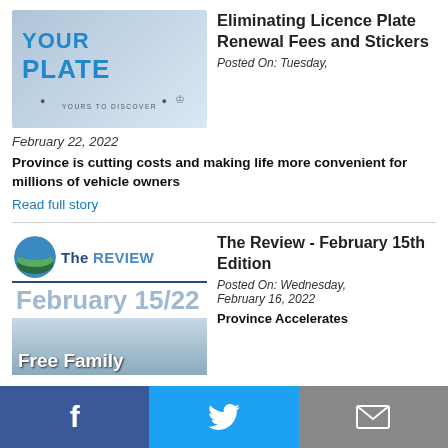[Figure (photo): Person holding an Ontario licence plate reading YOUR PLATE YOURS TO DISCOVER]
Eliminating Licence Plate Renewal Fees and Stickers
Posted On: Tuesday, February 22, 2022
Province is cutting costs and making life more convenient for millions of vehicle owners
Read full story
[Figure (photo): The Review newspaper logo and February 15/22 edition cover with Free Family text]
The Review - February 15th Edition
Posted On: Wednesday, February 16, 2022
Province Accelerates